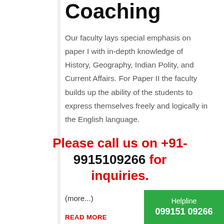Coaching
Our faculty lays special emphasis on paper I with in-depth knowledge of History, Geography, Indian Polity, and Current Affairs. For Paper II the faculty builds up the ability of the students to express themselves freely and logically in the English language.
Please call us on +91-9915109266 for inquiries.
(more...)
READ MORE
Helpline
099151 09266